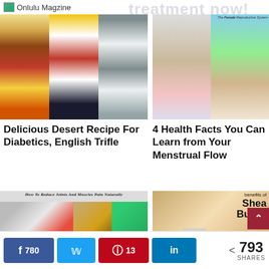Onlulu Magzine
[Figure (photo): Collage of three dessert trifle glasses with berries, cream, and layers]
[Figure (photo): Woman holding abdomen and diagram of the Female Reproductive System]
Delicious Desert Recipe For Diabetics, English Trifle
4 Health Facts You Can Learn from Your Menstrual Flow
[Figure (photo): How To Reduce Joints And Muscles Pain Naturally - collage of person with knee pain, ginger, cherries, turmeric]
[Figure (photo): Benefits of Shea Butter - eggs, shea butter in a bowl, jar and grated shea butter]
780
13
793 SHARES